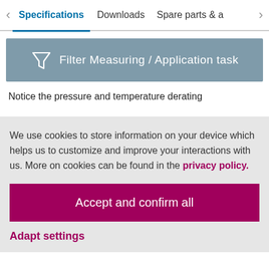Specifications | Downloads | Spare parts & a
[Figure (infographic): Filter icon with text: Filter Measuring / Application task on a grey-blue background banner]
Notice the pressure and temperature derating
We use cookies to store information on your device which helps us to customize and improve your interactions with us. More on cookies can be found in the privacy policy.
Accept and confirm all
Adapt settings